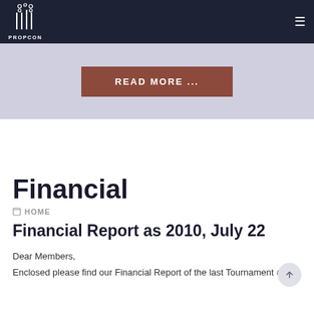[Figure (logo): PROPCON logo with stylized column/pipes icon in white on dark navy background, with hamburger menu icon on the right]
[Figure (screenshot): Hero banner area in light lavender/grey showing a brown 'READ MORE ...' button centered]
Financial
HOME
Financial Report as 2010, July 22
Dear Members,
Enclosed please find our Financial Report of the last Tournament @